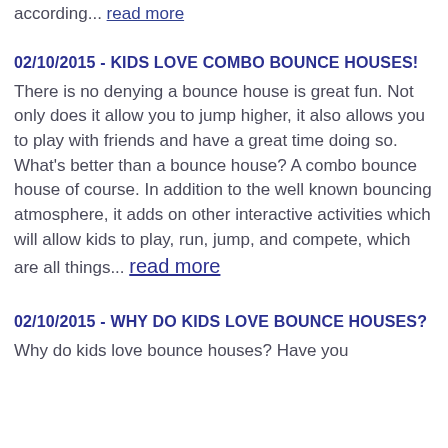according... read more
02/10/2015 - KIDS LOVE COMBO BOUNCE HOUSES!
There is no denying a bounce house is great fun. Not only does it allow you to jump higher, it also allows you to play with friends and have a great time doing so. What's better than a bounce house? A combo bounce house of course. In addition to the well known bouncing atmosphere, it adds on other interactive activities which will allow kids to play, run, jump, and compete, which are all things... read more
02/10/2015 - WHY DO KIDS LOVE BOUNCE HOUSES?
Why do kids love bounce houses? Have you